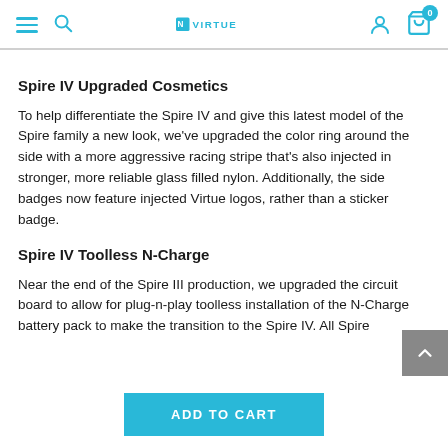Virtue (logo), navigation icons: hamburger menu, search, user account, cart (0)
Spire IV Upgraded Cosmetics
To help differentiate the Spire IV and give this latest model of the Spire family a new look, we've upgraded the color ring around the side with a more aggressive racing stripe that's also injected in stronger, more reliable glass filled nylon. Additionally, the side badges now feature injected Virtue logos, rather than a sticker badge.
Spire IV Toolless N-Charge
Near the end of the Spire III production, we upgraded the circuit board to allow for plug-n-play toolless installation of the N-Charge battery pack to make the transition to the Spire IV. All Spire